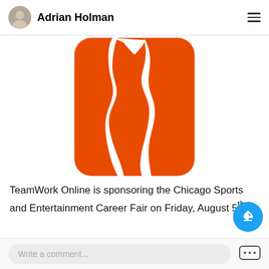Adrian Holman
[Figure (logo): NBA G League logo — orange rounded rectangle with white basketball player silhouette dribbling in the center]
TeamWork Online is sponsoring the Chicago Sports and Entertainment Career Fair on Friday, August 5th
Write a comment...